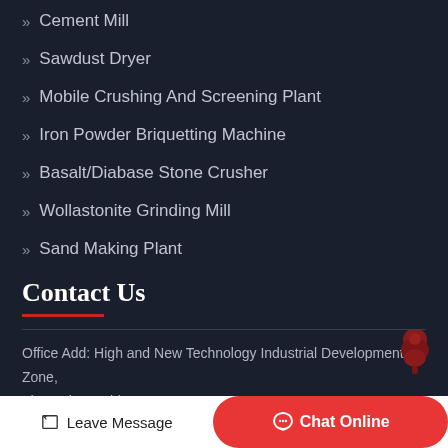Cement Mill
Sawdust Dryer
Mobile Crushing And Screening Plant
Iron Powder Briquetting Machine
Basalt/Diabase Stone Crusher
Wollastonite Grinding Mill
Sand Making Plant
Contact Us
Office Add: High and New Technology Industrial Development Zone, Zhengzhou, China